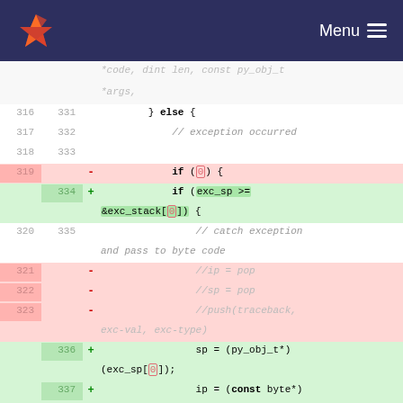GitLab — Menu
[Figure (screenshot): Code diff view showing C code changes around exception handling. Lines 316-338 visible. Removed lines (red): 319 'if (0) {', 321 '//ip = pop', 322 '//sp = pop', 323 '//push(traceback, exc-val, exc-type)'. Added lines (green): 334 'if (exc_sp >= &exc_stack[0]) {', 336 'sp = (py_obj_t*)(exc_sp[0]);', 337 'ip = (const byte*)(exc_sp[-1]);', 338 '// push(traceback, exc-val, exc-type)'.]